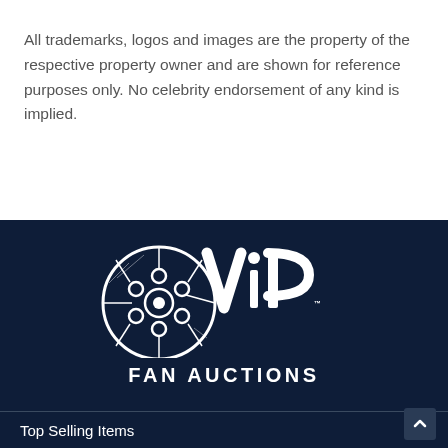All trademarks, logos and images are the property of the respective property owner and are shown for reference purposes only. No celebrity endorsement of any kind is implied.
[Figure (logo): VIP Fan Auctions logo — white film reel graphic merged with 'VIP' lettering and 'FAN AUCTIONS' text below, on dark navy background]
Top Selling Items